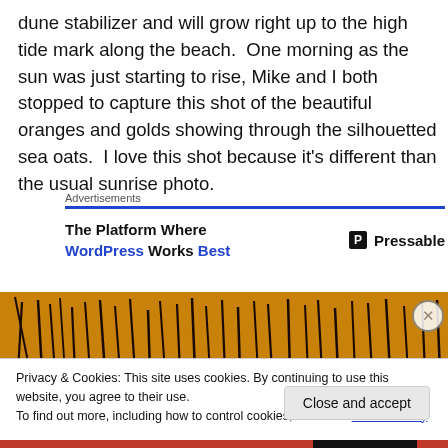dune stabilizer and will grow right up to the high tide mark along the beach.  One morning as the sun was just starting to rise, Mike and I both stopped to capture this shot of the beautiful oranges and golds showing through the silhouetted sea oats.  I love this shot because it's different than the usual sunrise photo.
[Figure (screenshot): Advertisement block: 'The Platform Where WordPress Works Best' with Pressable logo]
[Figure (photo): Photo strip showing silhouetted sea oats against an orange/golden sunrise sky]
Privacy & Cookies: This site uses cookies. By continuing to use this website, you agree to their use.
To find out more, including how to control cookies, see here: Cookie Policy
Close and accept